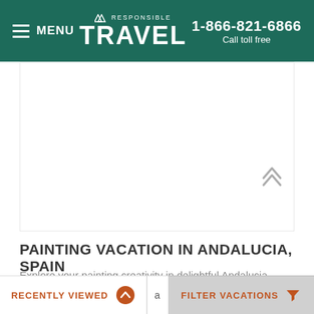MENU | RESPONSIBLE TRAVEL | 1-866-821-6866 Call toll free
[Figure (photo): Large white/blank image area showing a painting vacation listing photo (not loaded)]
PAINTING VACATION IN ANDALUCIA, SPAIN
Explore your painting creativity in delightful Andalucia.
RECENTLY VIEWED | FILTER VACATIONS